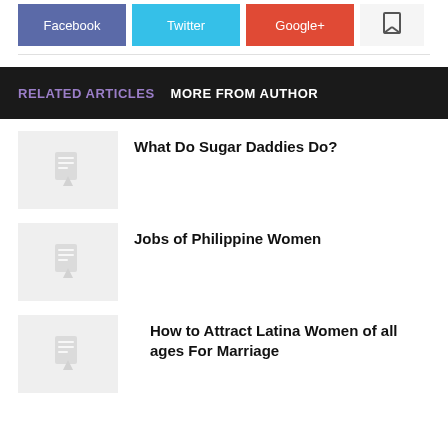[Figure (infographic): Social sharing buttons: Facebook (blue-purple), Twitter (cyan), Google+ (red), and a save/bookmark button (light gray with icon)]
RELATED ARTICLES   MORE FROM AUTHOR
What Do Sugar Daddies Do?
Jobs of Philippine Women
How to Attract Latina Women of all ages For Marriage